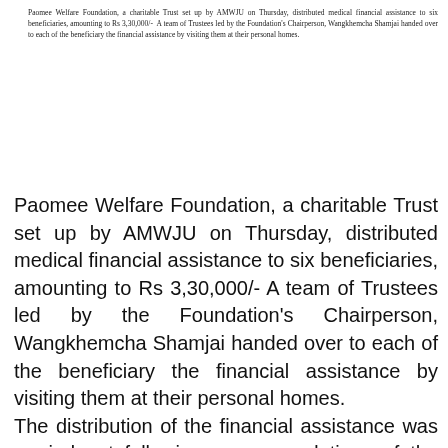Paomee Welfare Foundation, a charitable Trust set up by AMWJU on Thursday, distributed medical financial assistance to six beneficiaries, amounting to Rs 3,30,000/- A team of Trustees led by the Foundation's Chairperson, Wangkhemcha Shamjai handed over to each of the beneficiary the financial assistance by visiting them at their personal homes.
Paomee Welfare Foundation, a charitable Trust set up by AMWJU on Thursday, distributed medical financial assistance to six beneficiaries, amounting to Rs 3,30,000/- A team of Trustees led by the Foundation's Chairperson, Wangkhemcha Shamjai handed over to each of the beneficiary the financial assistance by visiting them at their personal homes. The distribution of the financial assistance was carried out following recommendations of the high-powered Medical Board of the Foundation. The Medical Board with representatives from reputed hospitals like RIMS, JNIMS and Shija made the recommendation after thorough deliberation upon the applications for medical assistance received from the beneficiaries, keeping in mind the financial status of the Foundation for such medical assistance. The other trustees who were present were Prabin Phanjoujem, Vice